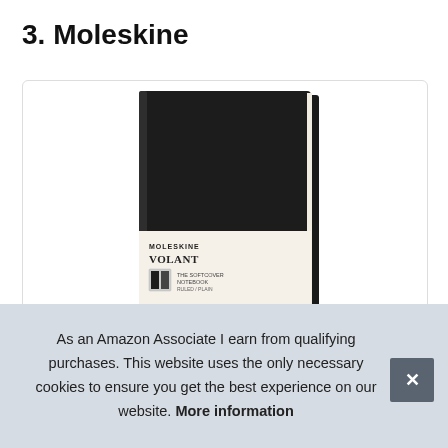3. Moleskine
[Figure (photo): A black Moleskine Volant notebook standing upright, showing the front cover with a white label band featuring the Moleskine logo, Volant text, and an orange stripe at the bottom of the label.]
Mo
As an Amazon Associate I earn from qualifying purchases. This website uses the only necessary cookies to ensure you get the best experience on our website. More information